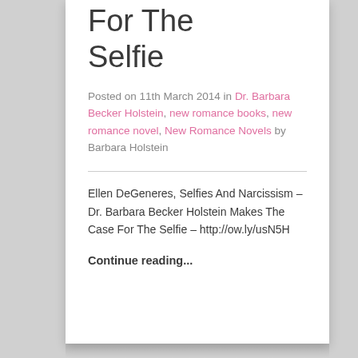For The Selfie
Posted on 11th March 2014 in Dr. Barbara Becker Holstein, new romance books, new romance novel, New Romance Novels by Barbara Holstein
Ellen DeGeneres, Selfies And Narcissism – Dr. Barbara Becker Holstein Makes The Case For The Selfie – http://ow.ly/usN5H
Continue reading...